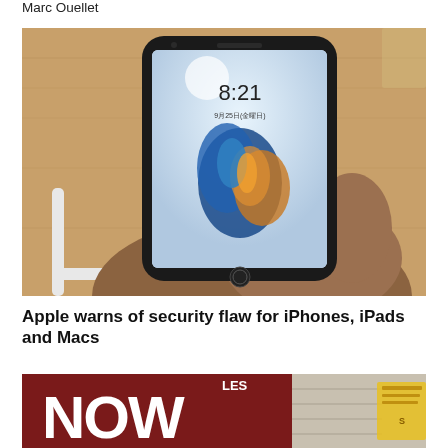Marc Ouellet
[Figure (photo): A hand holding an iPhone displaying the lock screen with time 8:21 and a colorful bird wallpaper, on a wooden surface with a white cable visible.]
Apple warns of security flaw for iPhones, iPads and Macs
[Figure (photo): A storefront sign with large white letters reading 'NOW' on a dark red background, next to a building exterior with a yellow and white sign partially visible.]